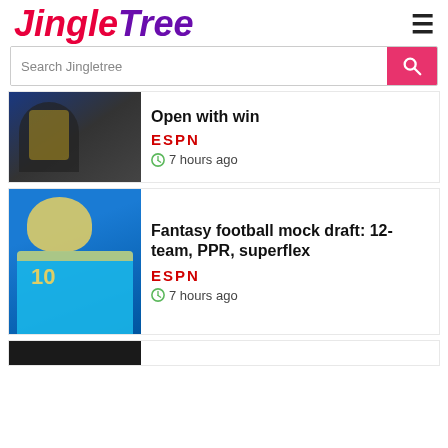JingleTree
Search Jingletree
Open with win
ESPN
7 hours ago
Fantasy football mock draft: 12-team, PPR, superflex
ESPN
7 hours ago